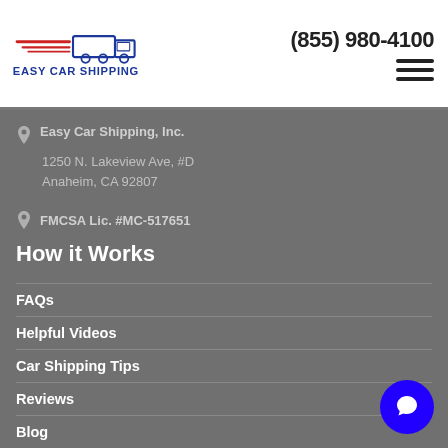[Figure (logo): Easy Car Shipping logo with red speed lines and blue truck silhouette, company name below]
(855) 980-4100
Easy Car Shipping, Inc.
1250 N. Lakeview Ave, #D
Anaheim, CA 92807
FMCSA Lic. #MC-517651
How it Works
FAQs
Helpful Videos
Car Shipping Tips
Reviews
Blog
Get Quotes